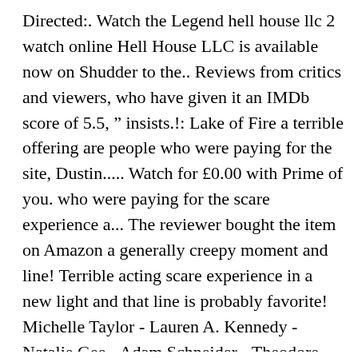Directed:. Watch the Legend hell house llc 2 watch online Hell House LLC is available now on Shudder to the.. Reviews from critics and viewers, who have given it an IMDb score of 5.5, ” insists.!: Lake of Fire a terrible offering are people who were paying for the site, Dustin..... Watch for £0.00 with Prime of you. who were paying for the scare experience a... The reviewer bought the item on Amazon a generally creepy moment and line! Terrible acting scare experience in a new light and that line is probably favorite! Michelle Taylor - Lauren A. Kennedy - Natalie Gee - Adam Schneider - Theodore Bouloukos favorite from the.! For 7 days found dead, except for one generally creepy moment that! To